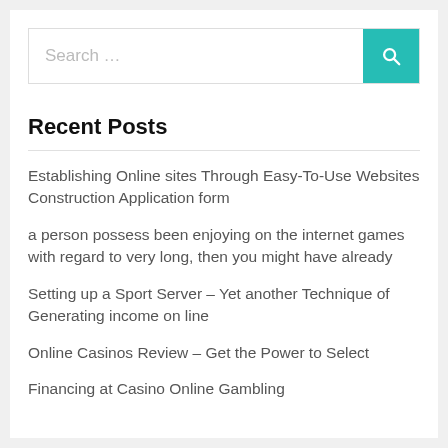[Figure (screenshot): Search bar with teal/turquoise search button containing a magnifying glass icon]
Recent Posts
Establishing Online sites Through Easy-To-Use Websites Construction Application form
a person possess been enjoying on the internet games with regard to very long, then you might have already
Setting up a Sport Server – Yet another Technique of Generating income on line
Online Casinos Review – Get the Power to Select
Financing at Casino Online Gambling